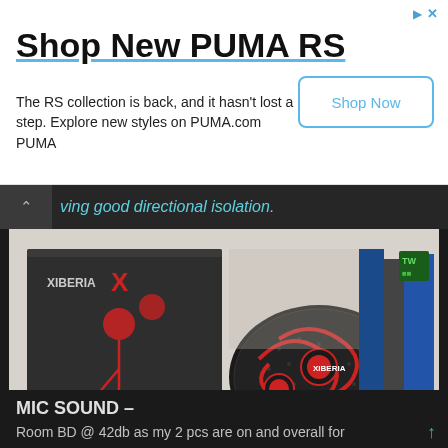[Figure (other): Advertisement banner for PUMA RS collection with title 'Shop New PUMA RS', body text 'The RS collection is back, and it hasn't lost a step. Explore new styles on PUMA.com PUMA', and a 'Shop Now' button.]
ving good directional isolation.
[Figure (photo): Photo of Xiberia X gaming earbuds product - red and black in-ear headphones with detachable microphone, shown next to their box and a black carrying case. The box reads 'GAMING EARBUDS'.]
MIC SOUND –
Room BD @ 42db as my 2 pcs are on and overall for